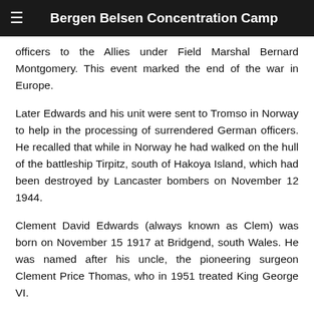Bergen Belsen Concentration Camp
officers to the Allies under Field Marshal Bernard Montgomery. This event marked the end of the war in Europe.
Later Edwards and his unit were sent to Tromso in Norway to help in the processing of surrendered German officers. He recalled that while in Norway he had walked on the hull of the battleship Tirpitz, south of Hakoya Island, which had been destroyed by Lancaster bombers on November 12 1944.
Clement David Edwards (always known as Clem) was born on November 15 1917 at Bridgend, south Wales. He was named after his uncle, the pioneering surgeon Clement Price Thomas, who in 1951 treated King George VI.
After Bridgend Grammar School, Clem studied at the Welsh National School of Medicine in Cardiff, where he...